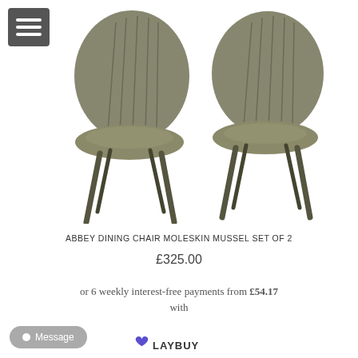[Figure (photo): Two olive/moleskin colored upholstered dining chairs with ribbed fabric seats and dark metal legs, shown side by side on a white background]
ABBEY DINING CHAIR MOLESKIN MUSSEL SET OF 2
£325.00
or 6 weekly interest-free payments from £54.17 with
[Figure (logo): Laybuy logo with heart icon]